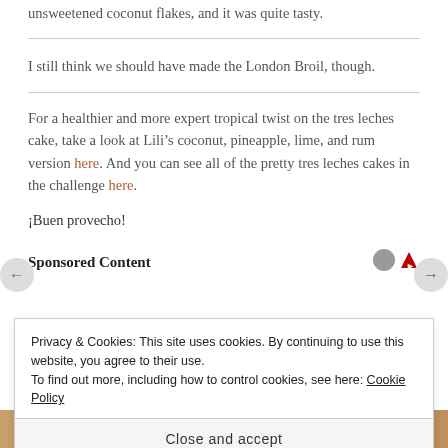unsweetened coconut flakes, and it was quite tasty.
I still think we should have made the London Broil, though.
For a healthier and more expert tropical twist on the tres leches cake, take a look at Lili’s coconut, pineapple, lime, and rum version here. And you can see all of the pretty tres leches cakes in the challenge here.
¡Buen provecho!
Sponsored Content
Privacy & Cookies: This site uses cookies. By continuing to use this website, you agree to their use.
To find out more, including how to control cookies, see here: Cookie Policy
Close and accept